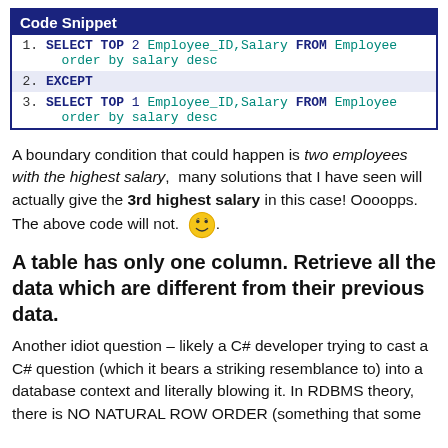[Figure (screenshot): Code snippet box with SQL query using SELECT TOP 2, EXCEPT, SELECT TOP 1 on Employee table ordered by salary desc]
A boundary condition that could happen is two employees with the highest salary, many solutions that I have seen will actually give the 3rd highest salary in this case! Oooopps. The above code will not. 😊.
A table has only one column. Retrieve all the data which are different from their previous data.
Another idiot question – likely a C# developer trying to cast a C# question (which it bears a striking resemblance to) into a database context and literally blowing it. In RDBMS theory, there is NO NATURAL ROW ORDER (something that some